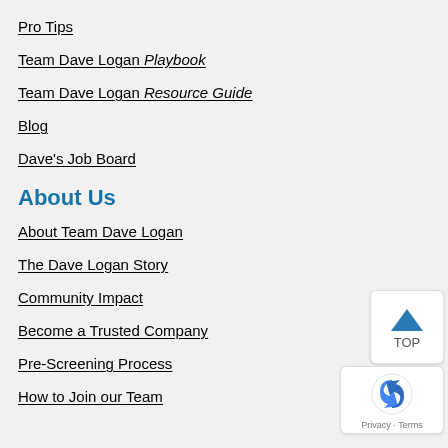Pro Tips
Team Dave Logan Playbook
Team Dave Logan Resource Guide
Blog
Dave's Job Board
About Us
About Team Dave Logan
The Dave Logan Story
Community Impact
Become a Trusted Company
Pre-Screening Process
How to Join our Team
[Figure (other): Back to top button with upward arrow and text TOP]
[Figure (other): Google reCAPTCHA badge with Privacy and Terms links]